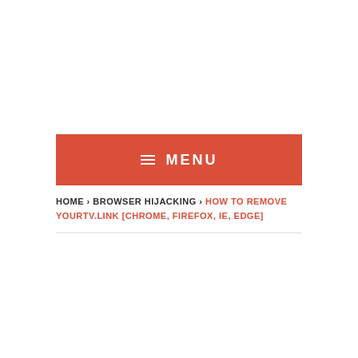≡ MENU
HOME › BROWSER HIJACKING › HOW TO REMOVE YOURTV.LINK [CHROME, FIREFOX, IE, EDGE]